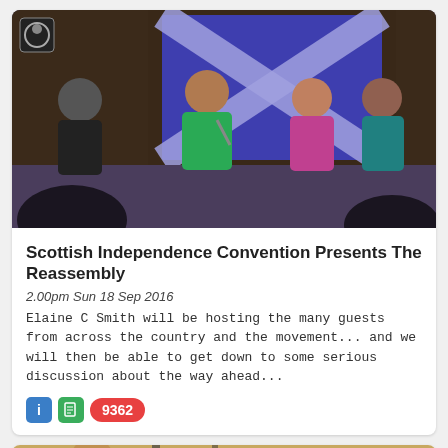[Figure (photo): Performance on stage with four people dancing/performing in front of a Scottish Saltire flag backdrop. A logo icon is visible in top-left corner.]
Scottish Independence Convention Presents The Reassembly
2.00pm Sun 18 Sep 2016
Elaine C Smith will be hosting the many guests from across the country and the movement... and we will then be able to get down to some serious discussion about the way ahead...
[Figure (photo): Partial view of a second event card showing a person, partially visible at the bottom of the page.]